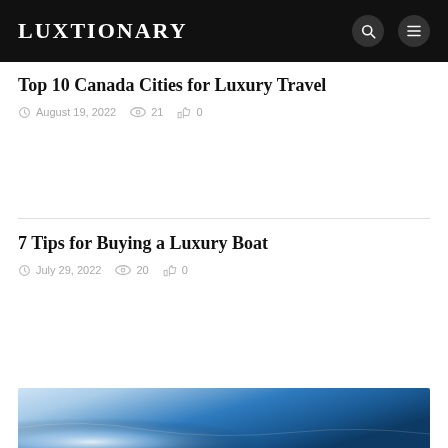LUXTIONARY
Top 10 Canada Cities for Luxury Travel
August 19, 2022  21  0
7 Tips for Buying a Luxury Boat
July 29, 2022  20  0
[Figure (photo): Partial view of a luxury boat or water scene with blue tones]